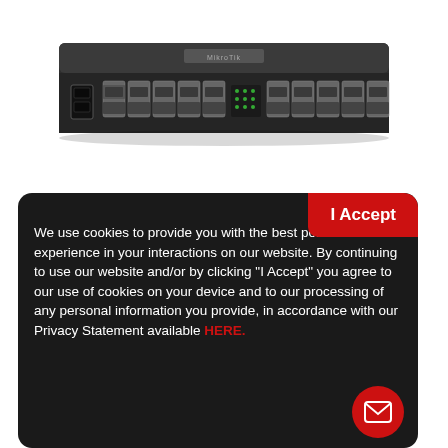[Figure (photo): MikroTik network router/switch device shown from front, dark gray chassis with multiple ethernet ports and SFP ports, label on top]
I Accept
We use cookies to provide you with the best possible experience in your interactions on our website. By continuing to use our website and/or by clicking “I Accept” you agree to our use of cookies on your device and to our processing of any personal information you provide, in accordance with our Privacy Statement available HERE.